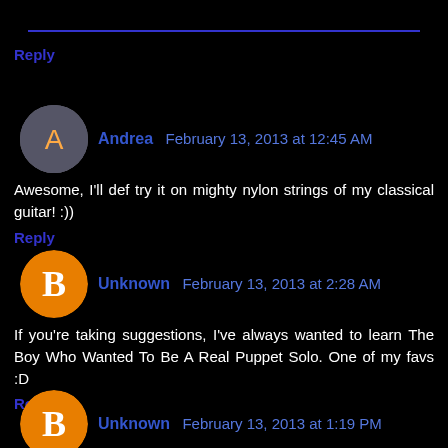Reply
Andrea  February 13, 2013 at 12:45 AM
Awesome, I'll def try it on mighty nylon strings of my classical guitar! :))
Reply
Unknown  February 13, 2013 at 2:28 AM
If you're taking suggestions, I've always wanted to learn The Boy Who Wanted To Be A Real Puppet Solo. One of my favs :D
Reply
Unknown  February 13, 2013 at 1:19 PM
This comment has been removed by the author.